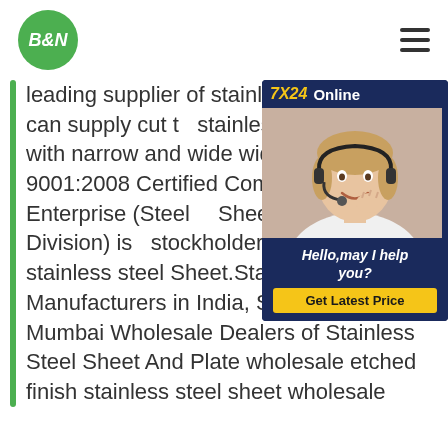B&N — hamburger menu
[Figure (infographic): 7X24 Online chat widget with a female customer service agent wearing a headset, and a 'Get Latest Price' button]
leading supplier of stainless sheet?We can supply cut to stainless steel Sheet, with narrow and wide widths. An 9001:2008 Certified Company Sanghvi Enterprise (Steel Sheet and Coil Division) is stockholder, supplier and e stainless steel Sheet.Stain Sheet Manufacturers in India, Ss Sheet Supplier Mumbai Wholesale Dealers of Stainless Steel Sheet And Plate wholesale etched finish stainless steel sheet wholesale